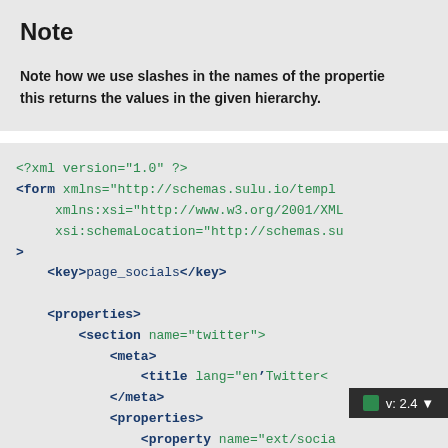Note
Note how we use slashes in the names of the properties this returns the values in the given hierarchy.
<?xml version="1.0" ?>
<form xmlns="http://schemas.sulu.io/templ
     xmlns:xsi="http://www.w3.org/2001/XML
     xsi:schemaLocation="http://schemas.su
>
    <key>page_socials</key>

    <properties>
        <section name="twitter">
            <meta>
                <title lang="en">Twitter<
            </meta>
            <properties>
                <property name="ext/socia